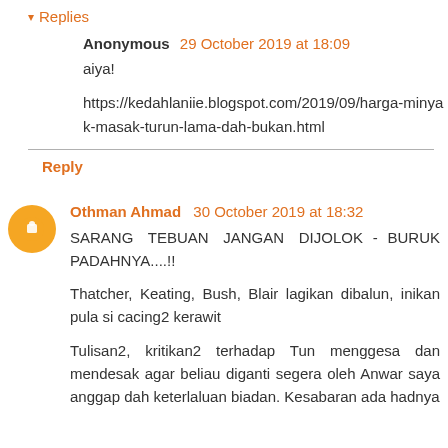▾ Replies
Anonymous 29 October 2019 at 18:09
aiya!
https://kedahlaniie.blogspot.com/2019/09/harga-minyak-masak-turun-lama-dah-bukan.html
Reply
Othman Ahmad 30 October 2019 at 18:32
SARANG TEBUAN JANGAN DIJOLOK - BURUK PADAHNYA....!!
Thatcher, Keating, Bush, Blair lagikan dibalun, inikan pula si cacing2 kerawit
Tulisan2, kritikan2 terhadap Tun menggesa dan mendesak agar beliau diganti segera oleh Anwar saya anggap dah keterlaluan biadan. Kesabaran ada hadnya